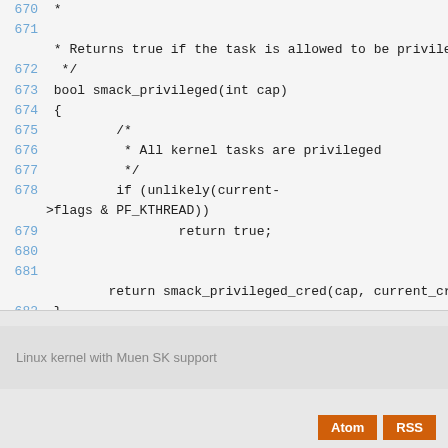[Figure (screenshot): Source code viewer showing lines 670-682 of smack privileged function in C, with blue line numbers on grey background]
Linux kernel with Muen SK support
Atom  RSS